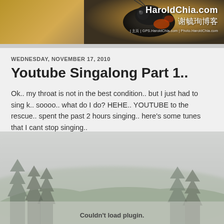[Figure (photo): Website banner for HaroldChia.com showing a close-up macro photo of an insect with blurred yellow/brown background, with white text overlay showing 'HaroldChia.com', Chinese characters '谢毓珣博客', and navigation links at the bottom]
WEDNESDAY, NOVEMBER 17, 2010
Youtube Singalong Part 1..
Ok.. my throat is not in the best condition.. but I just had to sing k.. soooo.. what do I do? HEHE.. YOUTUBE to the rescue.. spent the past 2 hours singing.. here's some tunes that I cant stop singing..
Song 1: 에릭남-오늘도
[Figure (photo): Misty landscape photograph with silhouetted pine trees in fog, green hills in the background, with a 'Couldn't load plugin.' error message overlay at the bottom]